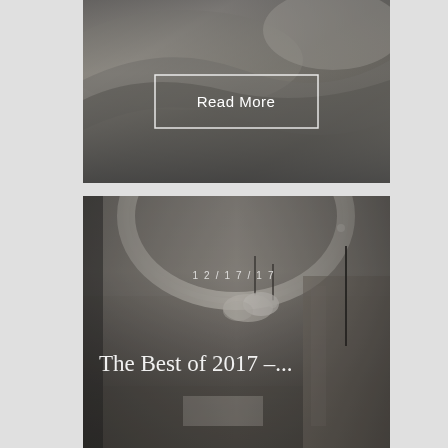[Figure (photo): Top image: interior architectural photo showing curved metallic/brushed surfaces in dark gray tones, with a 'Read More' button overlay in white outlined rectangle]
[Figure (photo): Bottom image: interior architectural photo showing a hotel/luxury space with curved ceiling feature, circular arc light, pendant lamps, and seating area below. Overlaid with date '12/17/17' and title 'The Best of 2017 –...']